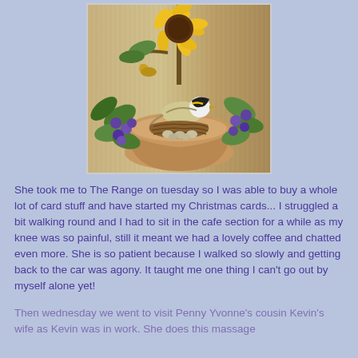[Figure (illustration): Illustration of a small bird sitting in a nest inside a gourd/bowl, surrounded by green leaves, purple berries, and yellow sunflowers above]
She took me to The Range on tuesday so I was able to buy a whole lot of card stuff and have started my Christmas cards... I struggled a bit walking round and I had to sit in the cafe section for a while as my knee was so painful, still it meant we had a lovely coffee and chatted even more. She is so patient because I walked so slowly and getting back to the car was agony. It taught me one thing I can't go out by myself alone yet!
Then wednesday we went to visit Penny Yvonne's cousin Kevin's wife as Kevin was in work. She does this massage